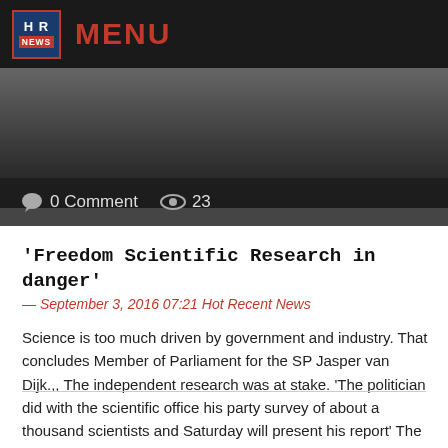HR NEWS  MENU
[Figure (photo): Partial photo of a person in dark clothing, cropped at the top]
0 Comment  23
'Freedom Scientific Research in danger'
— September 3, 2016 07:21 Hot Recent News
Science is too much driven by government and industry. That concludes Member of Parliament for the SP Jasper van Dijk.,, The independent research was at stake. 'The politician did with the scientific office his party survey of about a thousand scientists and Saturday will present his report' The scientist at the word. '